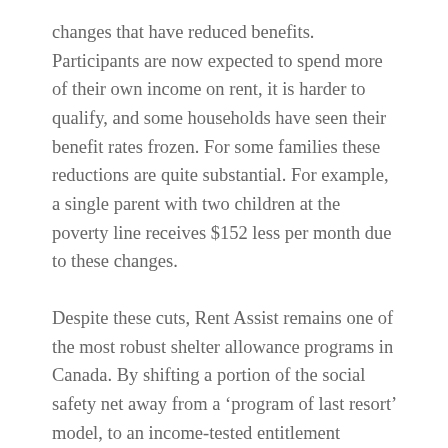changes that have reduced benefits. Participants are now expected to spend more of their own income on rent, it is harder to qualify, and some households have seen their benefit rates frozen. For some families these reductions are quite substantial. For example, a single parent with two children at the poverty line receives $152 less per month due to these changes.
Despite these cuts, Rent Assist remains one of the most robust shelter allowance programs in Canada. By shifting a portion of the social safety net away from a ‘program of last resort’ model, to an income-tested entitlement program, Manitoba has created a more equitable and accessible program. Broad-based community and political support is helping to ensure its sustainability, at least to date. While only time will tell, we are optimistic that Rent Assist can serve as a model for provinces and advocates seeking to improve access to housing and poverty